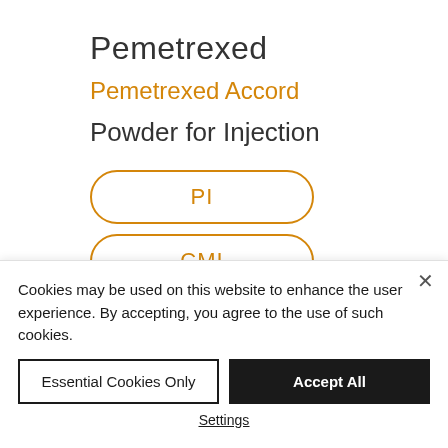Pemetrexed
Pemetrexed Accord
Powder for Injection
[Figure (other): Three pill-shaped buttons with orange border and text: PI, CMI, MSDS (partially visible)]
Cookies may be used on this website to enhance the user experience. By accepting, you agree to the use of such cookies.
Essential Cookies Only
Accept All
Settings